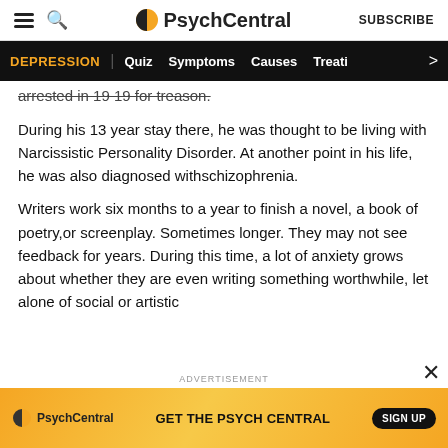PsychCentral — SUBSCRIBE
DEPRESSION | Quiz  Symptoms  Causes  Treati >
arrested in 19 19 for treason.
During his 13 year stay there, he was thought to be living with Narcissistic Personality Disorder. At another point in his life, he was also diagnosed withschizophrenia.
Writers work six months to a year to finish a novel, a book of poetry,or screenplay. Sometimes longer. They may not see feedback for years. During this time, a lot of anxiety grows about whether they are even writing something worthwhile, let alone of social or artistic
ADVERTISEMENT
[Figure (screenshot): PsychCentral advertisement banner with orange/yellow gradient background, PsychCentral logo, text 'GET THE PSYCH CENTRAL', and a 'SIGN UP' button]